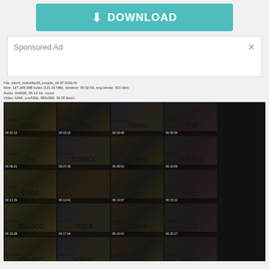[Figure (other): Download button — teal/green background with download icon and DOWNLOAD text]
Sponsored Ad
File: cam4_hellokitty30_couple_19.07.2016.flv
Size: 127,209,988 bytes (121.32 MB), duration: 00:32:56, avg.bitrate: 515 kb/s
Audio: 0x0000, 55.12 Hz, mono
Video: h264, yuv420p, 480x360, 30.00 fps(r)
[Figure (screenshot): Video thumbnail grid showing multiple frames from webcam video recording, 5 columns x 5 rows of video stills with timestamps overlay, background showing 'Low Price TOBACCO' signage]